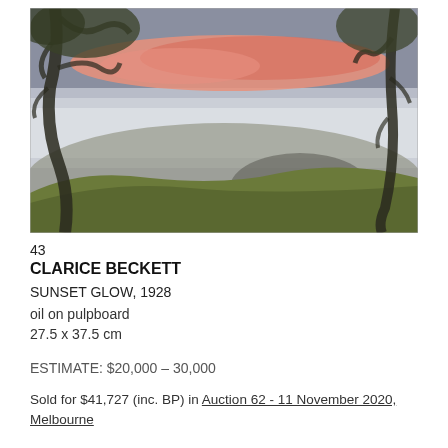[Figure (illustration): Landscape painting 'Sunset Glow' by Clarice Beckett, 1928. Oil on pulpboard. Shows trees framing a pastoral scene with pink/red clouds in a grey sky and green hills below.]
43
CLARICE BECKETT
SUNSET GLOW, 1928
oil on pulpboard
27.5 x 37.5 cm
ESTIMATE: $20,000 – 30,000
Sold for $41,727 (inc. BP) in Auction 62 - 11 November 2020, Melbourne